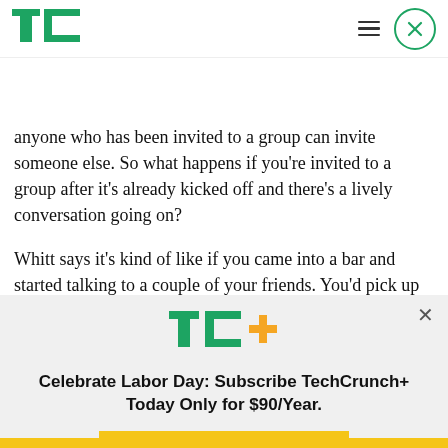TechCrunch logo, navigation menu, close button
anyone who has been invited to a group can invite someone else. So what happens if you're invited to a group after it's already kicked off and there's a lively conversation going on?
Whitt says it's kind of like if you came into a bar and started talking to a couple of your friends. You'd pick up on what they were talking about at that
[Figure (logo): TC+ logo with green TC letters and orange plus sign]
Celebrate Labor Day: Subscribe TechCrunch+ Today Only for $90/Year.
GET OFFER NOW